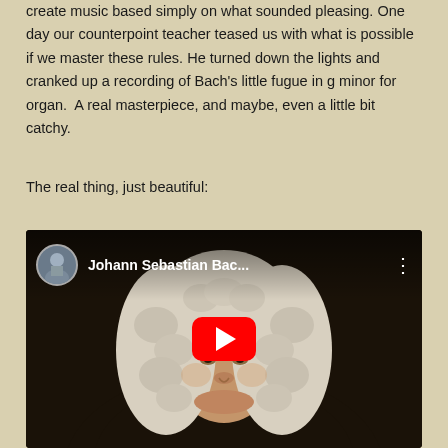create music based simply on what sounded pleasing. One day our counterpoint teacher teased us with what is possible if we master these rules. He turned down the lights and cranked up a recording of Bach's little fugue in g minor for organ.  A real masterpiece, and maybe, even a little bit catchy.
The real thing, just beautiful:
[Figure (screenshot): YouTube video embed showing a portrait of Johann Sebastian Bach with a YouTube play button overlay. The video title bar shows 'Johann Sebastian Bac...' with a circular avatar of a person in military attire and a three-dot menu icon.]